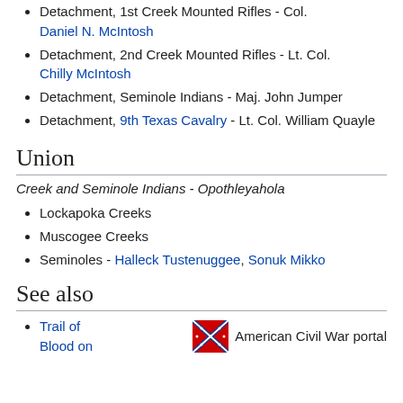Detachment, 1st Creek Mounted Rifles - Col. Daniel N. McIntosh
Detachment, 2nd Creek Mounted Rifles - Lt. Col. Chilly McIntosh
Detachment, Seminole Indians - Maj. John Jumper
Detachment, 9th Texas Cavalry - Lt. Col. William Quayle
Union
Creek and Seminole Indians - Opothleyahola
Lockapoka Creeks
Muscogee Creeks
Seminoles - Halleck Tustenuggee, Sonuk Mikko
See also
Trail of Blood on...
[Figure (logo): American Civil War portal icon - Confederate battle flag]